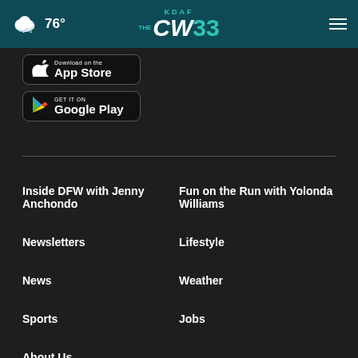76° KDAF THE CW33
[Figure (screenshot): App Store download button]
[Figure (screenshot): Google Play download button]
Inside DFW with Jenny Anchondo
Fun on the Run with Yolonda Williams
Newsletters
Lifestyle
News
Weather
Sports
Jobs
About Us